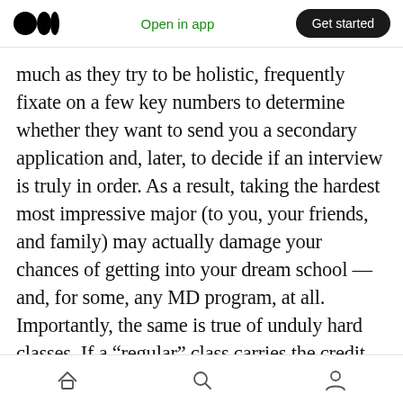Medium logo | Open in app | Get started
much as they try to be holistic, frequently fixate on a few key numbers to determine whether they want to send you a secondary application and, later, to decide if an interview is truly in order. As a result, taking the hardest most impressive major (to you, your friends, and family) may actually damage your chances of getting into your dream school — and, for some, any MD program, at all. Importantly, the same is true of unduly hard classes. If a “regular” class carries the credit you need, think deeply on whether taking that honors or “advanced” class is really
Home | Search | Profile